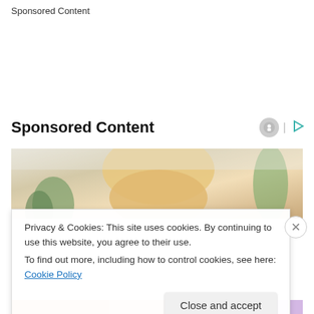Sponsored Content
Sponsored Content
[Figure (photo): Photograph of a blonde woman looking downward, with green plants in background]
Privacy & Cookies: This site uses cookies. By continuing to use this website, you agree to their use.
To find out more, including how to control cookies, see here: Cookie Policy
Close and accept